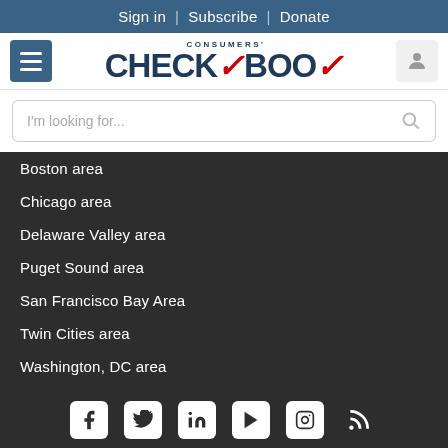Sign in | Subscribe | Donate
[Figure (logo): Consumers' Checkbook logo with red checkmark accents]
I'm looking for...
Boston area
Chicago area
Delaware Valley area
Puget Sound area
San Francisco Bay Area
Twin Cities area
Washington, DC area
[Figure (infographic): Social media icons: Facebook, Twitter/X, LinkedIn, YouTube, Instagram, RSS]
JOIN or DONATE